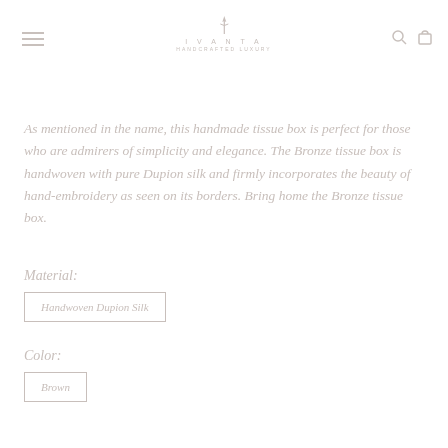IVANTA (logo with navigation icons)
As mentioned in the name, this handmade tissue box is perfect for those who are admirers of simplicity and elegance. The Bronze tissue box is handwoven with pure Dupion silk and firmly incorporates the beauty of hand-embroidery as seen on its borders. Bring home the Bronze tissue box.
Material:
Handwoven Dupion Silk
Color:
Brown